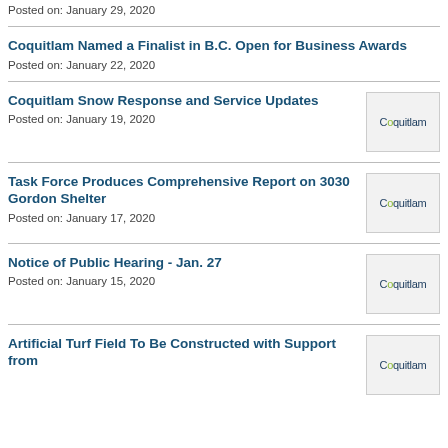Posted on: January 29, 2020
Coquitlam Named a Finalist in B.C. Open for Business Awards
Posted on: January 22, 2020
Coquitlam Snow Response and Service Updates
Posted on: January 19, 2020
Task Force Produces Comprehensive Report on 3030 Gordon Shelter
Posted on: January 17, 2020
Notice of Public Hearing - Jan. 27
Posted on: January 15, 2020
Artificial Turf Field To Be Constructed with Support from